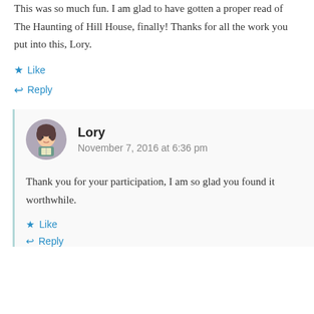This was so much fun. I am glad to have gotten a proper read of The Haunting of Hill House, finally! Thanks for all the work you put into this, Lory.
Like
Reply
Lory
November 7, 2016 at 6:36 pm
Thank you for your participation, I am so glad you found it worthwhile.
Like
Reply